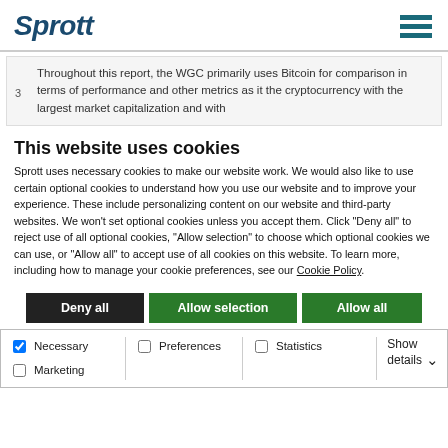Sprott
Throughout this report, the WGC primarily uses Bitcoin for comparison in terms of performance and other metrics as it the cryptocurrency with the largest market capitalization and with
This website uses cookies
Sprott uses necessary cookies to make our website work. We would also like to use certain optional cookies to understand how you use our website and to improve your experience. These include personalizing content on our website and third-party websites. We won't set optional cookies unless you accept them. Click "Deny all" to reject use of all optional cookies, "Allow selection" to choose which optional cookies we can use, or "Allow all" to accept use of all cookies on this website. To learn more, including how to manage your cookie preferences, see our Cookie Policy.
Deny all | Allow selection | Allow all
Necessary | Preferences | Statistics | Marketing | Show details